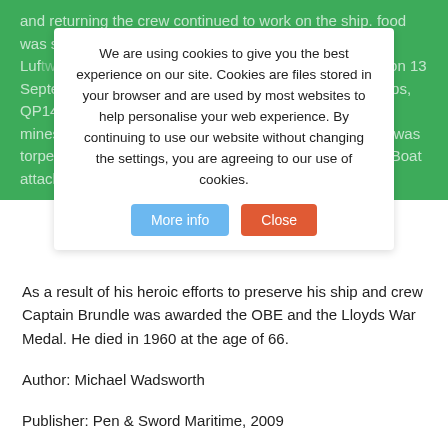and returning... months the crew continued to work on the ship. food was scarce and the port was frequently bombed by the Luftwaffe... It was... took aboard a cargo of... pipes and on 13 September she was instructed to join a convoy of 20 ships, QP14 for her return voyage. On 19 September the minesweeper, HMS Leda, steaming close by Harmatris, was torpedoed. The convoy was under almost continuous U Boat attack and suffered six losses.
We are using cookies to give you the best experience on our site. Cookies are files stored in your browser and are used by most websites to help personalise your web experience. By continuing to use our website without changing the settings, you are agreeing to our use of cookies.
As a result of his heroic efforts to preserve his ship and crew Captain Brundle was awarded the OBE and the Lloyds War Medal. He died in 1960 at the age of 66.
Author: Michael Wadsworth
Publisher: Pen & Sword Maritime, 2009
210 pages